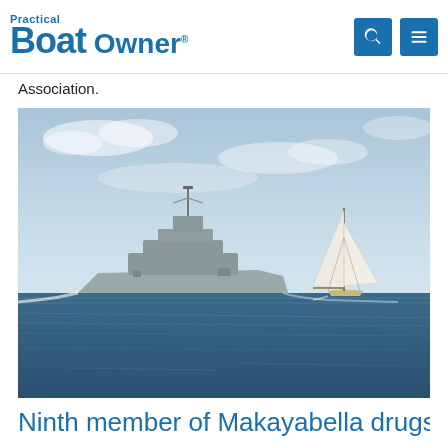Practical Boat Owner
Association.
[Figure (photo): A naval/military grey ship and a white-sailed sailboat on open blue ocean water under a partly cloudy sky.]
Ninth member of Makayabella drugs